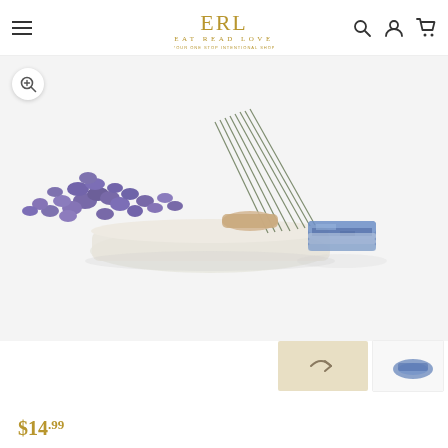EAT READ LOVE — navigation header with hamburger menu, logo, search, account, and cart icons
[Figure (photo): Product photo showing a bundle of dried lavender tied with twine resting on a white selenite crystal bar, alongside a small blue and white kyanite crystal piece, on a white background. A zoom icon button appears in the top-left corner of the image.]
[Figure (photo): Thumbnail navigation area at bottom right showing a beige/tan colored box with arrow icon for next image, and a partial thumbnail of the product with blue elements.]
$14.99